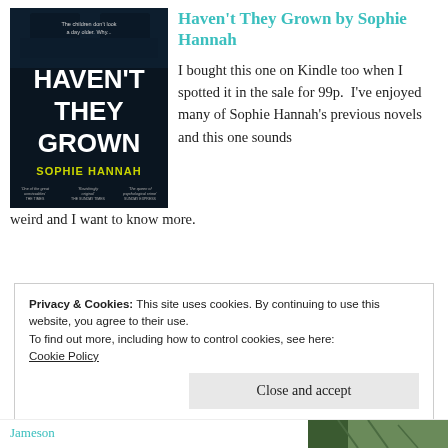Haven't They Grown by Sophie Hannah
[Figure (photo): Book cover of 'Haven't They Grown' by Sophie Hannah. Dark background with white text reading the title and author name. Tagline reads 'The children don't look a day older. Why...']
I bought this one on Kindle too when I spotted it in the sale for 99p.  I’ve enjoyed many of Sophie Hannah’s previous novels and this one sounds weird and I want to know more.
Privacy & Cookies: This site uses cookies. By continuing to use this website, you agree to their use.
To find out more, including how to control cookies, see here: Cookie Policy
Close and accept
Jameson